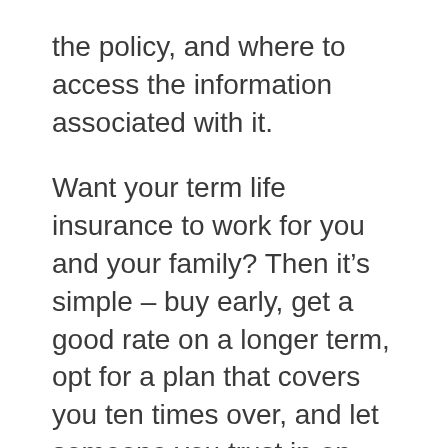the policy, and where to access the information associated with it.
Want your term life insurance to work for you and your family? Then it’s simple – buy early, get a good rate on a longer term, opt for a plan that covers you ten times over, and let someone you trust in on the details. The peace of mind and security you’ll get is worth far more than the cost of your premium.
About AEGON Life